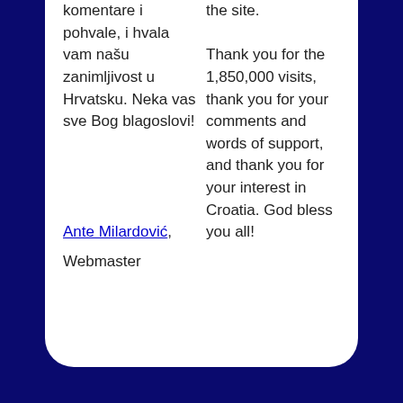komentare i pohvale, i hvala vam našu zanimljivost u Hrvatsku. Neka vas sve Bog blagoslovi!
the site.

Thank you for the 1,850,000 visits, thank you for your comments and words of support, and thank you for your interest in Croatia. God bless you all!
Ante Milardović, Webmaster